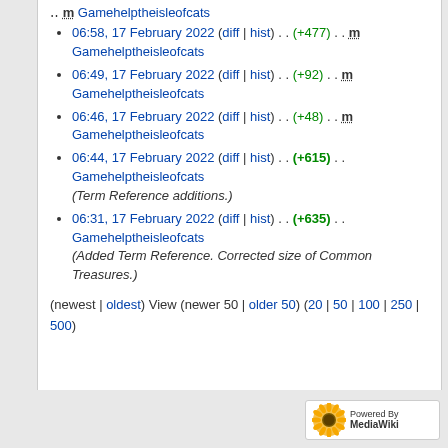06:58, 17 February 2022 (diff | hist) . . (+477) . . m Gamehelptheisleofcats
06:49, 17 February 2022 (diff | hist) . . (+92) . . m Gamehelptheisleofcats
06:46, 17 February 2022 (diff | hist) . . (+48) . . m Gamehelptheisleofcats
06:44, 17 February 2022 (diff | hist) . . (+615) . . Gamehelptheisleofcats (Term Reference additions.)
06:31, 17 February 2022 (diff | hist) . . (+635) . . Gamehelptheisleofcats (Added Term Reference. Corrected size of Common Treasures.)
(newest | oldest) View (newer 50 | older 50) (20 | 50 | 100 | 250 | 500)
[Figure (logo): Powered by MediaWiki logo badge]